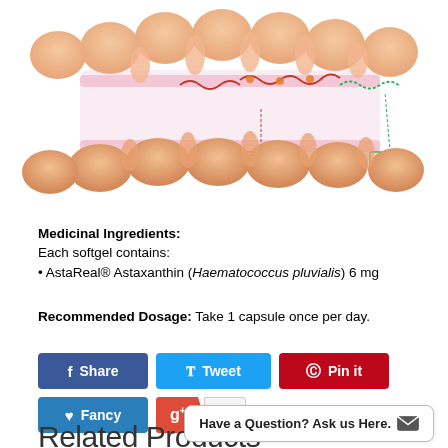[Figure (illustration): Scientific diagram showing astaxanthin molecule crossing a cell membrane (intestinal epithelial cells), with labels 'Astaxanthin' (red box) and 'Vit. E' (green box), illustrating membrane-crossing antioxidant properties.]
Medicinal Ingredients: Each softgel contains:
• AstaReal® Astaxanthin (Haematococcus pluvialis) 6 mg
Recommended Dosage: Take 1 capsule once per day.
[Figure (screenshot): Social sharing buttons: Share (Facebook), Tweet, Pin it (Pinterest), Fancy, and Google +1]
Related Products
[Figure (photo): Product image placeholder at bottom left]
Have a Question? Ask us Here.